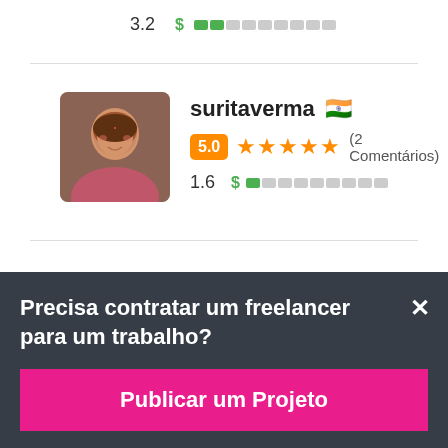3.2  $ ██░░░░░░░░
[Figure (photo): Profile photo of suritaverma - woman smiling, wearing pink]
suritaverma 🇮🇳
5.0 ★★★★★ (2 Comentários)
1.6  $ █░░░░░░░░░
Precisa contratar um freelancer para um trabalho?
Publicar um Projeto